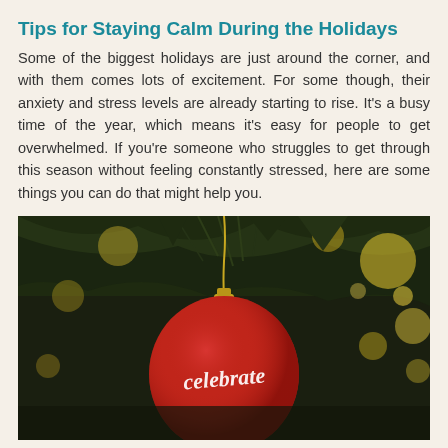Tips for Staying Calm During the Holidays
Some of the biggest holidays are just around the corner, and with them comes lots of excitement. For some though, their anxiety and stress levels are already starting to rise. It's a busy time of the year, which means it's easy for people to get overwhelmed. If you're someone who struggles to get through this season without feeling constantly stressed, here are some things you can do that might help you.
[Figure (photo): A close-up photo of a red Christmas ornament with the word 'Celebrate' written in white cursive text, hanging from a pine tree branch with bokeh yellow lights in the background.]